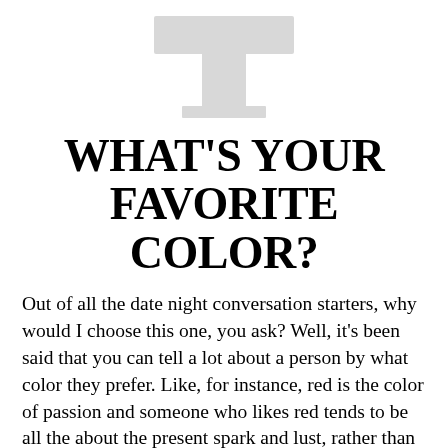[Figure (illustration): A large light gray uppercase letter T, styled as a serif display letterform, centered at the top of the page.]
WHAT'S YOUR FAVORITE COLOR?
Out of all the date night conversation starters, why would I choose this one, you ask? Well, it's been said that you can tell a lot about a person by what color they prefer. Like, for instance, red is the color of passion and someone who likes red tends to be all the about the present spark and lust, rather than looking more into the future and a standing relationship. And lovers of yellow tend to not care much about romance and are more "self centered." (At least this is what the article on match.com